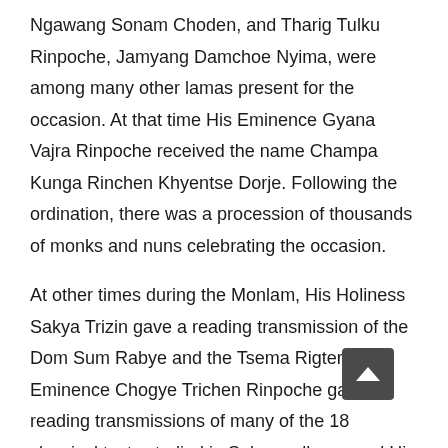Ngawang Sonam Choden, and Tharig Tulku Rinpoche, Jamyang Damchoe Nyima, were among many other lamas present for the occasion. At that time His Eminence Gyana Vajra Rinpoche received the name Champa Kunga Rinchen Khyentse Dorje. Following the ordination, there was a procession of thousands of monks and nuns celebrating the occasion.
At other times during the Monlam, His Holiness Sakya Trizin gave a reading transmission of the Dom Sum Rabye and the Tsema Rigter, His Eminence Chogye Trichen Rinpoche gave reading transmissions of many of the 18 classical texts studied in Sakya colleges and His Eminence Luding Khenchen Rinpoche gave a reading transmission of the root verses of the Abhidharma Kosha.
On an auspicious day the assembly made a long life...